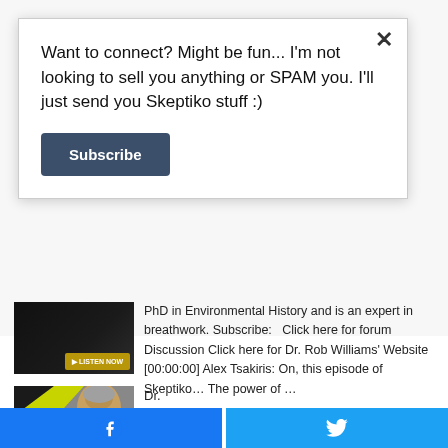Want to connect? Might be fun... I'm not looking to sell you anything or SPAM you. I'll just send you Skeptiko stuff :)
Subscribe
PhD in Environmental History and is an expert in breathwork. Subscribe:   Click here for forum Discussion Click here for Dr. Rob Williams' Website [00:00:00] Alex Tsakiris: On, this episode of Skeptiko… The power of …
[Figure (screenshot): Thumbnail image for Skeptiko podcast episode with dark background and yellow button]
[Figure (photo): Photo of Dr. Robert Davis with Skeptiko podcast branding, diagonal yellow-green and black graphic overlay]
Dr. Robert Davis,
[Figure (screenshot): Facebook share button (blue)]
[Figure (screenshot): Twitter share button (blue)]